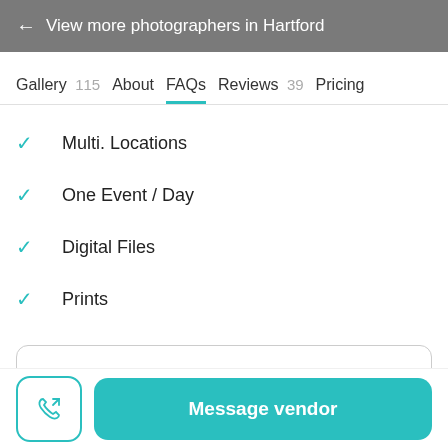← View more photographers in Hartford
Gallery 115   About   FAQs   Reviews 39   Pricing
Multi. Locations
One Event / Day
Digital Files
Prints
View more FAQs
Message vendor